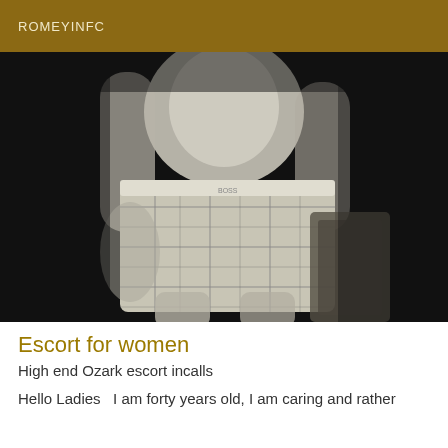ROMEYINFC
[Figure (photo): Black and white photograph of a shirtless man from torso down, wearing plaid shorts/boxers, leaning against what appears to be a wooden surface, dark background]
Escort for women
High end Ozark escort incalls
Hello Ladies  I am forty years old, I am caring and rather